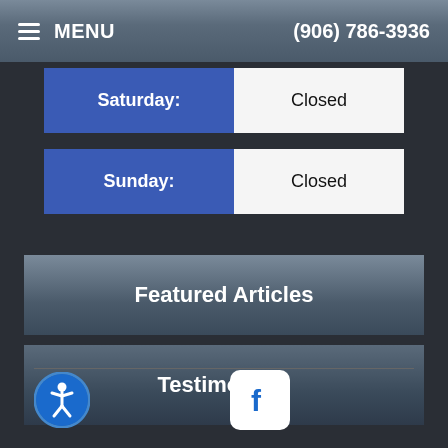MENU  (906) 786-3936
| Day | Hours |
| --- | --- |
| Saturday: | Closed |
| Sunday: | Closed |
Featured Articles
Testimonials
[Figure (other): Accessibility icon (person in circle) and Facebook logo icon at the bottom of the page]